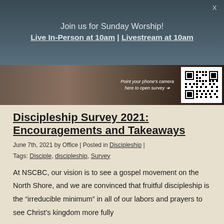Join us for Sunday Worship!
Live In-Person at 10am | Livestream at 10am
[Figure (photo): Hero image of coffee/hands with a QR code overlay and text 'Point your phone's camera here to open survey']
Discipleship Survey 2021: Encouragements and Takeaways
June 7th, 2021 by Office | Posted in Discipleship |
Tags: Disciple, discipleship, Survey
At NSCBC, our vision is to see a gospel movement on the North Shore, and we are convinced that fruitful discipleship is the “irreducible minimum” in all of our labors and prayers to see Christ’s kingdom more fully